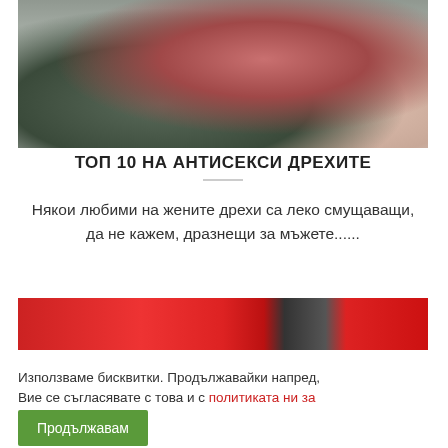[Figure (photo): Close-up photo of knitted or crocheted clothing items in dark green and pink/rose colors against a light gray background]
ТОП 10 НА АНТИСЕКСИ ДРЕХИТЕ
Някои любими на жените дрехи са леко смущаващи, да не кажем, дразнещи за мъжете......
[Figure (photo): Partially visible image with red and dark colors, appears to be clothing]
Използваме бисквитки. Продължавайки напред, Вие се съгласявате с това и с политиката ни за поверителност.
Продължавам